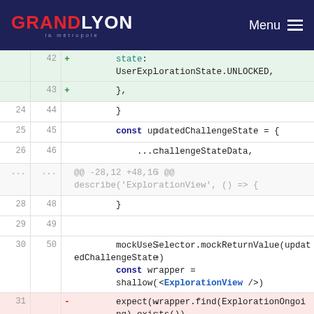GRANDLYON la métropole | Menu
[Figure (screenshot): Code diff view showing JavaScript/TypeScript test file changes. Lines 42-43 added (green): state: UserExplorationState.UNLOCKED and }. Lines 24-26 / 44-46: normal lines with }, const updatedChallengeState = {, ...challengeStateData,. Meta hunk header @@ -28,12 +48,16 @@ describe('ExplorationView', () => {. Lines 28-29 / 48-49: } and blank. Lines 29-30 / 49-50: mockUseSelector.mockReturnValue(updatedChallengeState) and const wrapper = shallow(<ExplorationView />). Line 31 removed (red): expect(wrapper.find(ExplorationOngoing).exists()). Line 51 added (green): expect(wrapper.find(ExplorationOngoing).exists()).toBeTruthy()]